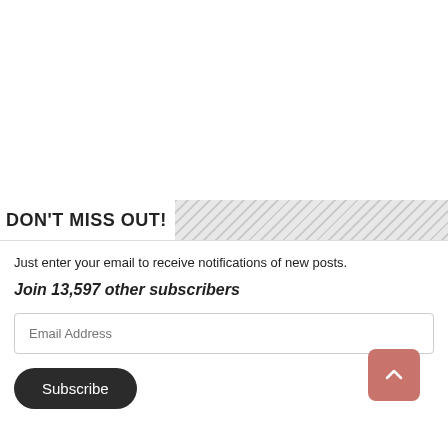DON'T MISS OUT!
Just enter your email to receive notifications of new posts.
Join 13,597 other subscribers